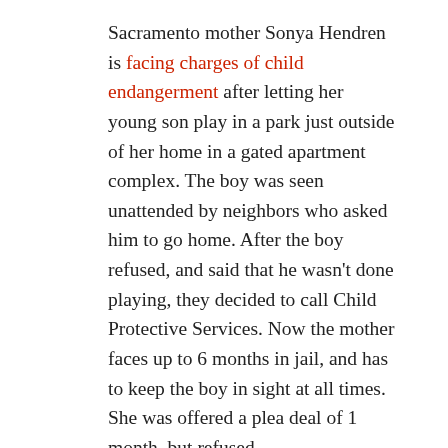Sacramento mother Sonya Hendren is facing charges of child endangerment after letting her young son play in a park just outside of her home in a gated apartment complex. The boy was seen unattended by neighbors who asked him to go home. After the boy refused, and said that he wasn't done playing, they decided to call Child Protective Services. Now the mother faces up to 6 months in jail, and has to keep the boy in sight at all times. She was offered a plea deal of 1 month, but refused.
The two unrepentant busy bodies who called the authorities, Sonja and Brandi Horrell, explained their reasons for the call to the local news. “I just thought she would get a warning, and then she wouldn’t let him be out alone again.” Brandi added that “I’m not mad she has to do things now to teach